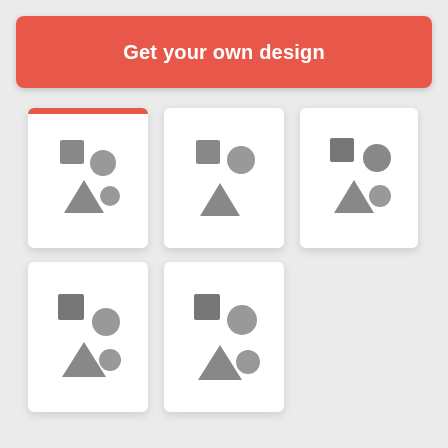[Figure (screenshot): Red button/banner with text 'Get your own design' on a light grey background, with 5 white card tiles below showing placeholder shape icons (square, triangle, circle)]
Get your own design